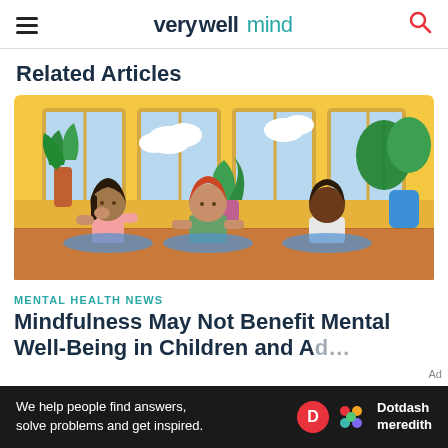verywellmind
Related Articles
[Figure (illustration): Illustration of three children sitting in a room with large windows and potted plants, appearing to be in a mindfulness or meditation session]
MENTAL HEALTH NEWS
Mindfulness May Not Benefit Mental Well-Being in Children and Adolescents
We help people find answers, solve problems and get inspired. Dotdash meredith